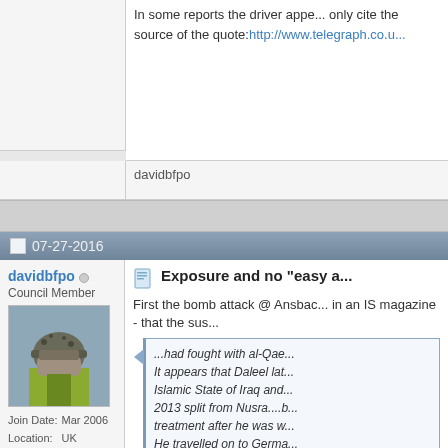In some reports the driver appe... only cite the source of the quote: http://www.telegraph.co.u...
davidbfpo
07-27-2016
davidbfpo
Council Member
Join Date: Mar 2006
Location: UK
Posts: 13,361
Exposure and no "easy a..."
First the bomb attack @ Ansbac... in an IS magazine - that the sus...
...had fought with al-Qae... It appears that Daleel lat... Islamic State of Iraq and... 2013 split from Nusra....b... treatment after he was w... He travelled on to Germa... (From another source) H... Bulgaria under the EU's... was delayed by his claim...